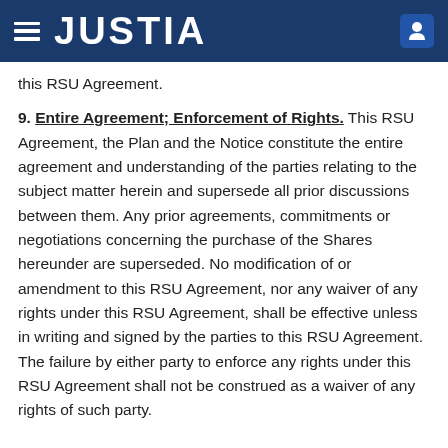JUSTIA
this RSU Agreement.
9. Entire Agreement; Enforcement of Rights. This RSU Agreement, the Plan and the Notice constitute the entire agreement and understanding of the parties relating to the subject matter herein and supersede all prior discussions between them. Any prior agreements, commitments or negotiations concerning the purchase of the Shares hereunder are superseded. No modification of or amendment to this RSU Agreement, nor any waiver of any rights under this RSU Agreement, shall be effective unless in writing and signed by the parties to this RSU Agreement. The failure by either party to enforce any rights under this RSU Agreement shall not be construed as a waiver of any rights of such party.